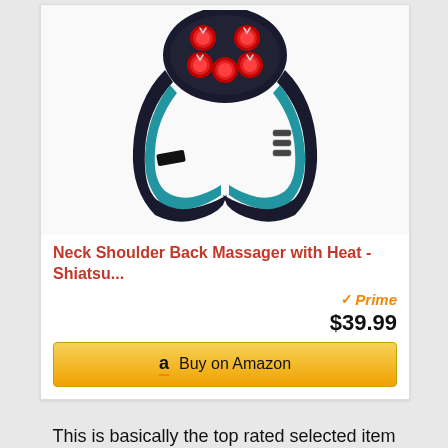[Figure (photo): Neck and shoulder shiatsu massager device with red massage nodes and blue/black design, shown from above on white background]
Neck Shoulder Back Massager with Heat - Shiatsu...
Prime $39.99
Buy on Amazon
This is basically the top rated selected item